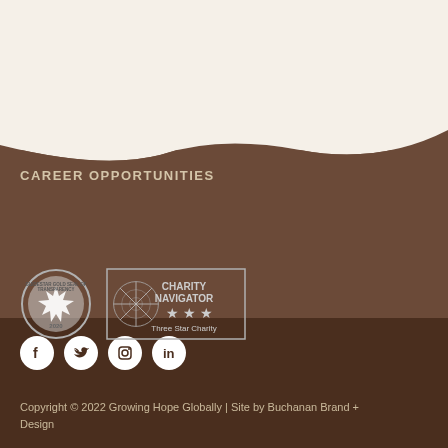[Figure (logo): Growing Hope Globally logo: circular icon with green heart and soil, with text GROWING HOPE GLOBALLY]
[Figure (other): Navigation icons: hamburger menu and heart/donate button circle in green]
CAREER OPPORTUNITIES
[Figure (other): Guidestar Gold Seal of Transparency 2020 badge (circular silver seal)]
[Figure (other): Charity Navigator Three Star Charity badge with star burst graphic]
[Figure (other): Social media icons: Facebook, Twitter, Instagram, LinkedIn (white circles on dark background)]
Copyright © 2022 Growing Hope Globally | Site by Buchanan Brand + Design